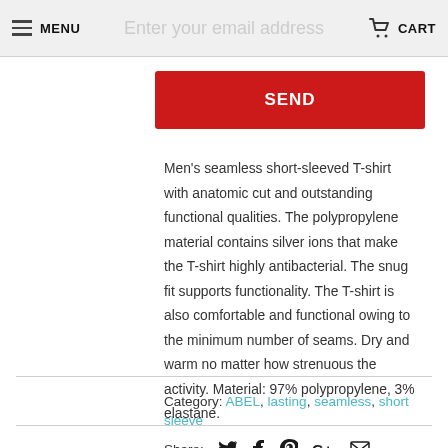MENU  |  CART
[Figure (screenshot): Red SEND button]
Men's seamless short-sleeved T-shirt with anatomic cut and outstanding functional qualities. The polypropylene material contains silver ions that make the T-shirt highly antibacterial. The snug fit supports functionality. The T-shirt is also comfortable and functional owing to the minimum number of seams. Dry and warm no matter how strenuous the activity. Material: 97% polypropylene, 3% elastane.
Category: ABEL, lasting, seamless, short sleeve
Share: